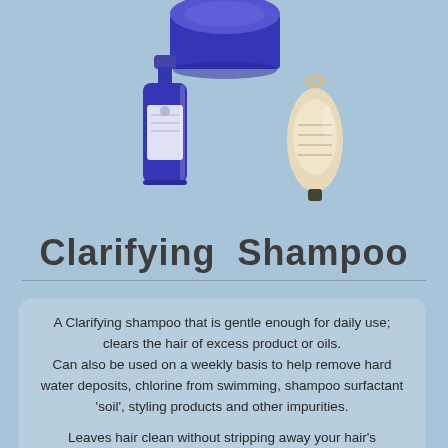[Figure (photo): Three shampoo product images: a blue jar visible at the top center (partially cropped), a blue bottle on the left, and a cream/beige oval bottle on the right]
Clarifying Shampoo
A Clarifying shampoo that is gentle enough for daily use; clears the hair of excess product or oils.
Can also be used on a weekly basis to help remove hard water deposits, chlorine from swimming, shampoo surfactant 'soil', styling products and other impurities.
Leaves hair clean without stripping away your hair's protective oils. Makes a great alternative to our conditioning